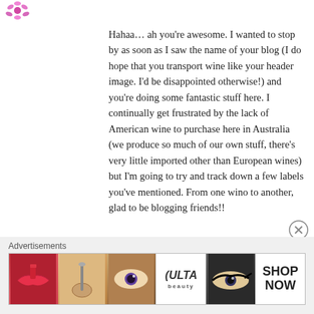[Figure (logo): Small decorative pink/purple floral logo icon in top left]
Hahaa… ah you're awesome. I wanted to stop by as soon as I saw the name of your blog (I do hope that you transport wine like your header image. I'd be disappointed otherwise!) and you're doing some fantastic stuff here. I continually get frustrated by the lack of American wine to purchase here in Australia (we produce so much of our own stuff, there's very little imported other than European wines) but I'm going to try and track down a few labels you've mentioned. From one wino to another, glad to be blogging friends!!
[Figure (illustration): Close (X) button circle icon]
Advertisements
[Figure (photo): ULTA beauty advertisement banner showing makeup images: lips with red lipstick, makeup brush, eye with brown eyeshadow, ULTA beauty logo, eye with dark liner, and SHOP NOW text]